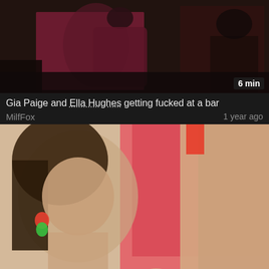[Figure (photo): Video thumbnail showing two women in a bar setting, one in burgundy top]
6 min
Gia Paige and Ella Hughes getting fucked at a bar
MilfFox
1 year ago
[Figure (photo): Video thumbnail showing a brunette woman performing oral sex]
8 min
Gia knows a thing or two about gobbling on the boomstick
PinFlix
1 year ago
[Figure (photo): Partial video thumbnail at bottom of page showing two people]